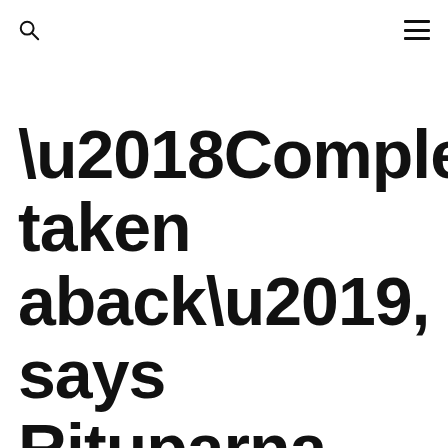[search icon] [menu icon]
‘Completely taken aback’, says Rituparna Sengupta after not being